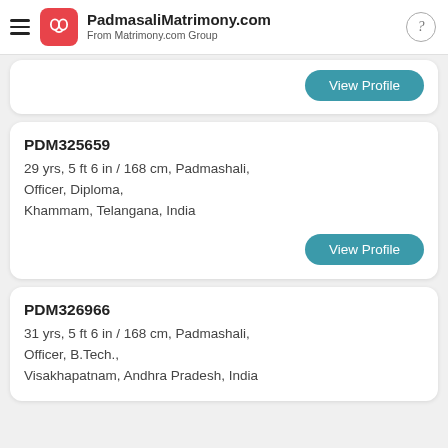PadmasaliMatrimony.com — From Matrimony.com Group
PDM325659
29 yrs, 5 ft 6 in / 168 cm, Padmashali,
Officer, Diploma,
Khammam, Telangana, India
PDM326966
31 yrs, 5 ft 6 in / 168 cm, Padmashali,
Officer, B.Tech.,
Visakhapatnam, Andhra Pradesh, India